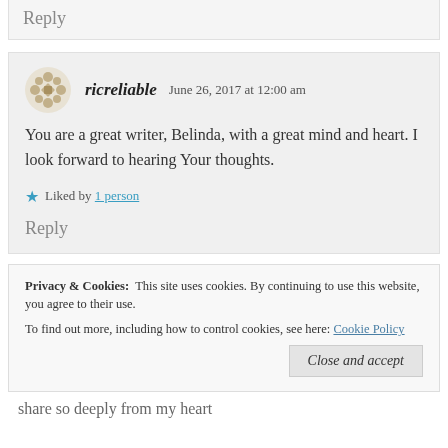Reply
ricreliable   June 26, 2017 at 12:00 am
You are a great writer, Belinda, with a great mind and heart. I look forward to hearing Your thoughts.
Liked by 1 person
Reply
Privacy & Cookies: This site uses cookies. By continuing to use this website, you agree to their use. To find out more, including how to control cookies, see here: Cookie Policy
Close and accept
share so deeply from my heart